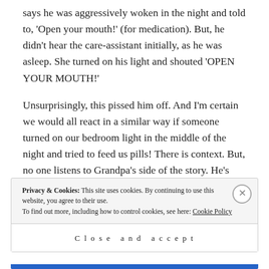says he was aggressively woken in the night and told to, 'Open your mouth!' (for medication). But, he didn't hear the care-assistant initially, as he was asleep. She turned on his light and shouted 'OPEN YOUR MOUTH!'
Unsurprisingly, this pissed him off. And I'm certain we would all react in a similar way if someone turned on our bedroom light in the middle of the night and tried to feed us pills! There is context. But, no one listens to Grandpa's side of the story. He's confused. He's angry. He's just being difficult. And therefore, he's ignored. He
Privacy & Cookies: This site uses cookies. By continuing to use this website, you agree to their use. To find out more, including how to control cookies, see here: Cookie Policy
Close and accept